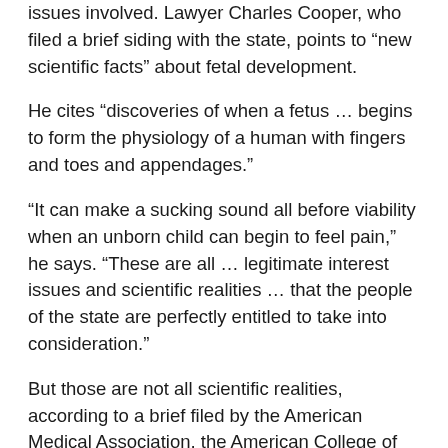issues involved. Lawyer Charles Cooper, who filed a brief siding with the state, points to “new scientific facts” about fetal development.
He cites “discoveries of when a fetus … begins to form the physiology of a human with fingers and toes and appendages.”
“It can make a sucking sound all before viability when an unborn child can begin to feel pain,” he says. “These are all … legitimate interest issues and scientific realities … that the people of the state are perfectly entitled to take into consideration.”
But those are not all scientific realities, according to a brief filed by the American Medical Association, the American College of Obstetricians and Gynecologists, other specialists in obstetrics and neonatology, and just about every major medical